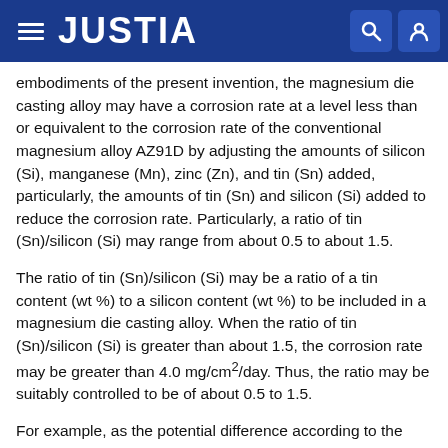JUSTIA
embodiments of the present invention, the magnesium die casting alloy may have a corrosion rate at a level less than or equivalent to the corrosion rate of the conventional magnesium alloy AZ91D by adjusting the amounts of silicon (Si), manganese (Mn), zinc (Zn), and tin (Sn) added, particularly, the amounts of tin (Sn) and silicon (Si) added to reduce the corrosion rate. Particularly, a ratio of tin (Sn)/silicon (Si) may range from about 0.5 to about 1.5.
The ratio of tin (Sn)/silicon (Si) may be a ratio of a tin content (wt %) to a silicon content (wt %) to be included in a magnesium die casting alloy. When the ratio of tin (Sn)/silicon (Si) is greater than about 1.5, the corrosion rate may be greater than 4.0 mg/cm2/day. Thus, the ratio may be suitably controlled to be of about 0.5 to 1.5.
For example, as the potential difference according to the